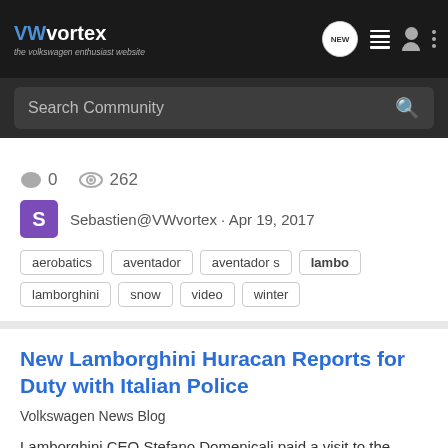VWvortex - the volkswagen enthusiast website
Search Community
0   262
Sebastien@VWvortex · Apr 19, 2017
aerobatics   aventador   aventador s   lambo   lamborghini   snow   video   winter
New Lamborghini Huracan Reports for Duty with Italian Police
Volkswagen News Blog
Lamborghini CEO Stefano Domenicali paid a visit to the Italian Interior Minister and Chief of Police this week, but not for any nefarious reasons. Instead, he was handing off the keys of a new police-spec Lamborghini Huracan. While our